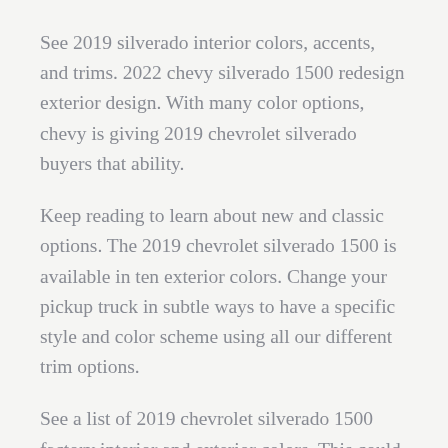See 2019 silverado interior colors, accents, and trims. 2022 chevy silverado 1500 redesign exterior design. With many color options, chevy is giving 2019 chevrolet silverado buyers that ability.
Keep reading to learn about new and classic options. The 2019 chevrolet silverado 1500 is available in ten exterior colors. Change your pickup truck in subtle ways to have a specific style and color scheme using all our different trim options.
See a list of 2019 chevrolet silverado 1500 factory interior and exterior colors. This could be the initial design transform to the present era of silverado due to the fact its era begins in 2019. The 2019 chevy silverado can also be clad in your choice of 11 exterior paint color options and you can see